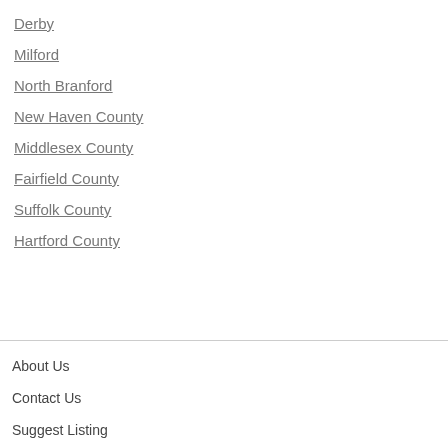Derby
Milford
North Branford
New Haven County
Middlesex County
Fairfield County
Suffolk County
Hartford County
About Us
Contact Us
Suggest Listing